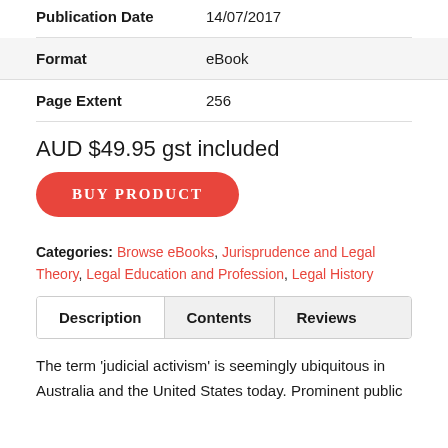| Field | Value |
| --- | --- |
| Publication Date | 14/07/2017 |
| Format | eBook |
| Page Extent | 256 |
AUD $49.95 gst included
BUY PRODUCT
Categories: Browse eBooks, Jurisprudence and Legal Theory, Legal Education and Profession, Legal History
Description | Contents | Reviews
The term ‘judicial activism’ is seemingly ubiquitous in Australia and the United States today. Prominent public